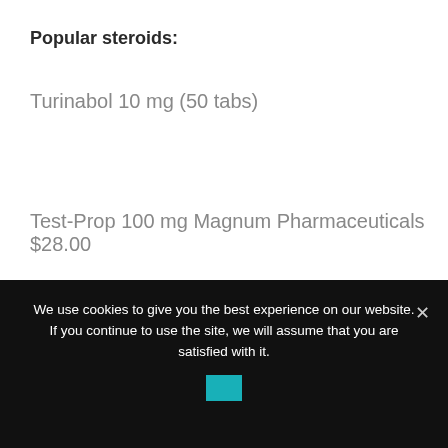Popular steroids:
Turinabol 10 mg (50 tabs)
Test-Prop 100 mg Magnum Pharmaceuticals $28.00
Fluoxymesterone
We use cookies to give you the best experience on our website. If you continue to use the site, we will assume that you are satisfied with it.